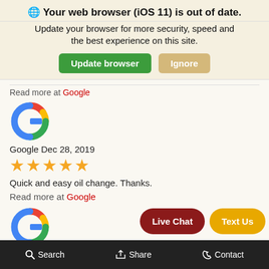🌐 Your web browser (iOS 11) is out of date.
Update your browser for more security, speed and the best experience on this site.
Read more at Google
[Figure (logo): Google 'G' logo - colorful icon]
Google Dec 28, 2019
★★★★★ (5 stars)
Quick and easy oil change. Thanks.
Read more at Google
[Figure (logo): Google 'G' logo - colorful icon]
Google Dec 13, 2019
★★★★☆ (4 stars)
Search | Share | Contact